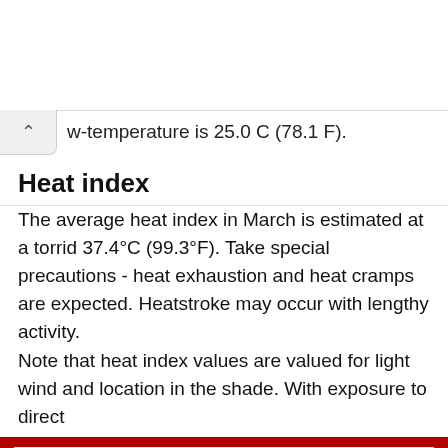w-temperature is 25.0 C (78.1 F).
Heat index
The average heat index in March is estimated at a torrid 37.4°C (99.3°F). Take special precautions - heat exhaustion and heat cramps are expected. Heatstroke may occur with lengthy activity.
Note that heat index values are valued for light wind and location in the shade. With exposure to direct
March
Today
Tomorrow
10 days
Climate